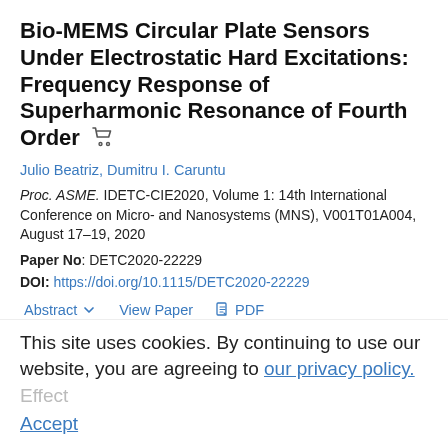Bio-MEMS Circular Plate Sensors Under Electrostatic Hard Excitations: Frequency Response of Superharmonic Resonance of Fourth Order
Julio Beatriz, Dumitru I. Caruntu
Proc. ASME. IDETC-CIE2020, Volume 1: 14th International Conference on Micro- and Nanosystems (MNS), V001T01A004, August 17–19, 2020
Paper No: DETC2020-22229
DOI: https://doi.org/10.1115/DETC2020-22229
Abstract  View Paper  PDF
Topics: Biomedical microelectromechanical systems, Excitation, Frequency response, Resonance, Sensors, Damping, Plates (structures), Vibration, Elastic plates, Steady state
PROCEEDINGS PAPERS
Superharmonic Resonance of Third Order of
This site uses cookies. By continuing to use our website, you are agreeing to our privacy policy. Accept